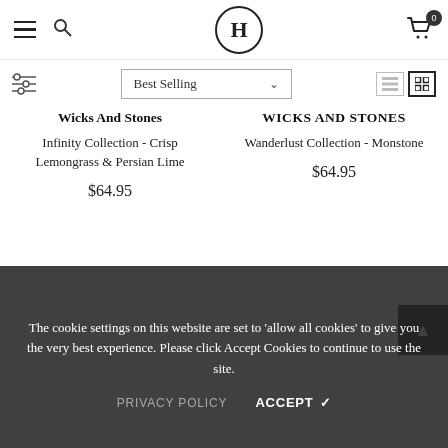H — Navigation header with hamburger menu, search, logo (H), and cart (0)
Best Selling (sort dropdown)
Wicks And Stones
Infinity Collection - Crisp Lemongrass & Persian Lime
$64.95
WICKS AND STONES
Wanderlust Collection - Monstone
$64.95
The cookie settings on this website are set to 'allow all cookies' to give you the very best experience. Please click Accept Cookies to continue to use the site.
PRIVACY POLICY   ACCEPT ✔